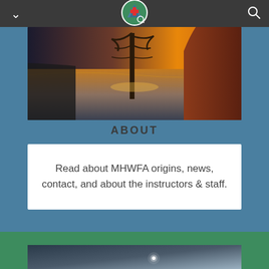Navigation bar with MHWFA logo, chevron, and search icon
[Figure (photo): Outdoor scenic photo showing a river or lake with a tree silhouetted against a golden sunset sky]
ABOUT
Read about MHWFA origins, news, contact, and about the instructors & staff.
[Figure (photo): Night sky photo showing a dark gradient background with a single bright star or light source visible]